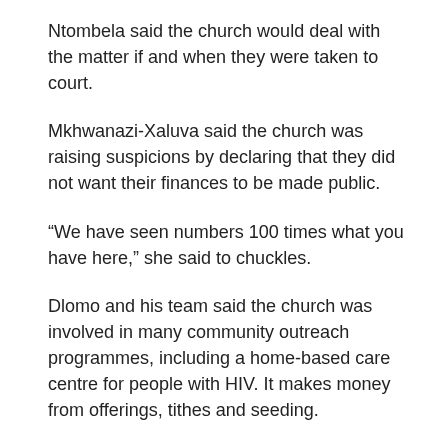Ntombela said the church would deal with the matter if and when they were taken to court.
Mkhwanazi-Xaluva said the church was raising suspicions by declaring that they did not want their finances to be made public.
“We have seen numbers 100 times what you have here,” she said to chuckles.
Dlomo and his team said the church was involved in many community outreach programmes, including a home-based care centre for people with HIV. It makes money from offerings, tithes and seeding.
Dlomo lambasted church leaders who make people eat snakes in the name of God.